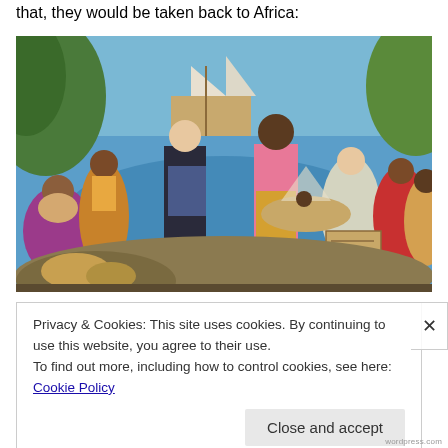that, they would be taken back to Africa:
[Figure (illustration): A colorful painted mural depicting a historical scene with multiple figures of diverse backgrounds near a sailing ship and a body of water. Central figures include a man in a dark coat, a man in a pink shirt and yellow pants, and various other people carrying goods and gesturing. The style is bold and expressive with vivid colors.]
Privacy & Cookies: This site uses cookies. By continuing to use this website, you agree to their use.
To find out more, including how to control cookies, see here: Cookie Policy
Close and accept